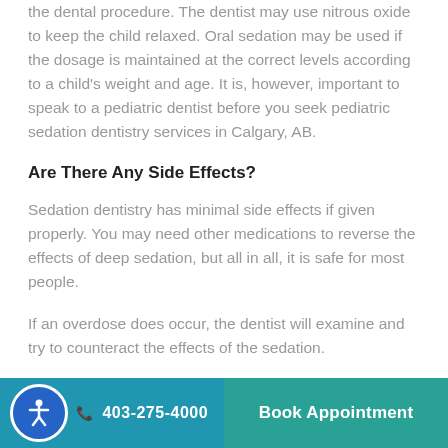the dental procedure. The dentist may use nitrous oxide to keep the child relaxed. Oral sedation may be used if the dosage is maintained at the correct levels according to a child's weight and age. It is, however, important to speak to a pediatric dentist before you seek pediatric sedation dentistry services in Calgary, AB.
Are There Any Side Effects?
Sedation dentistry has minimal side effects if given properly. You may need other medications to reverse the effects of deep sedation, but all in all, it is safe for most people.
If an overdose does occur, the dentist will examine and try to counteract the effects of the sedation.
403-275-4000   Book Appointment